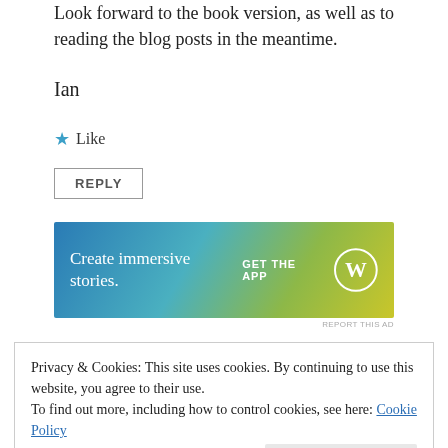Look forward to the book version, as well as to reading the blog posts in the meantime.
Ian
★ Like
REPLY
[Figure (infographic): WordPress ad banner with blue-green-yellow gradient background. Text: 'Create immersive stories.' and 'GET THE APP' with WordPress logo circle icon.]
REPORT THIS AD
Privacy & Cookies: This site uses cookies. By continuing to use this website, you agree to their use.
To find out more, including how to control cookies, see here: Cookie Policy
Close and accept
I make comments about four pillars and suggested